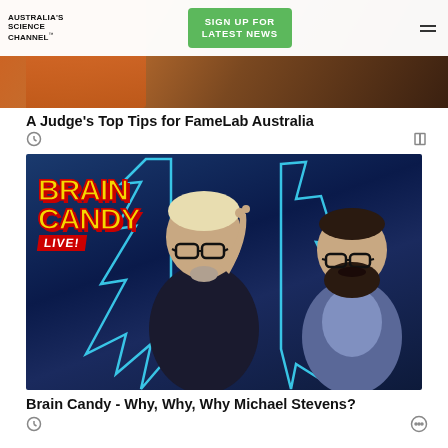Australia's Science Channel™
[Figure (screenshot): Navigation bar with Australia's Science Channel logo, green 'SIGN UP FOR LATEST NEWS' button, and hamburger menu icon]
[Figure (photo): Partial top image showing orange and brown tones, likely a FameLab Australia related image]
A Judge's Top Tips for FameLab Australia
[Figure (photo): Brain Candy Live promotional image showing two men (Adam Savage and Michael Stevens) against a dark blue background with lightning bolt outlines and the Brain Candy Live logo in yellow and red]
Brain Candy - Why, Why, Why Michael Stevens?